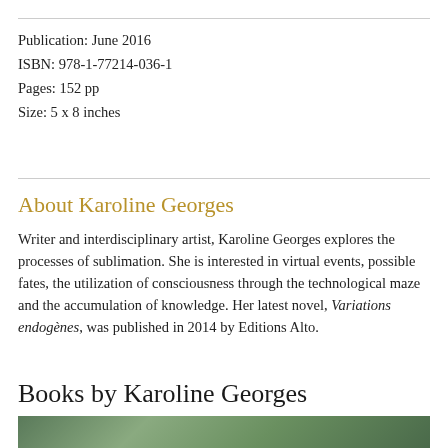Publication: June 2016
ISBN: 978-1-77214-036-1
Pages: 152 pp
Size: 5 x 8 inches
About Karoline Georges
Writer and interdisciplinary artist, Karoline Georges explores the processes of sublimation. She is interested in virtual events, possible fates, the utilization of consciousness through the technological maze and the accumulation of knowledge. Her latest novel, Variations endogènes, was published in 2014 by Editions Alto.
Books by Karoline Georges
[Figure (photo): Partial image of a book cover with a dark green textured background, cut off at the bottom of the page]